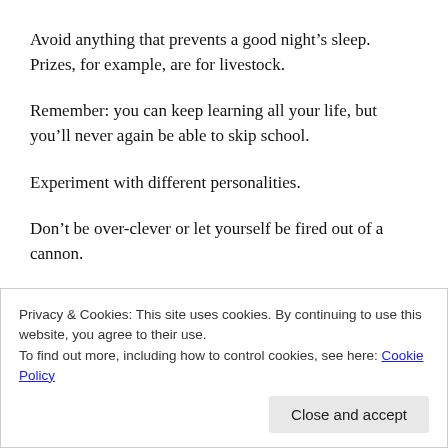Avoid anything that prevents a good night’s sleep. Prizes, for example, are for livestock.
Remember: you can keep learning all your life, but you’ll never again be able to skip school.
Experiment with different personalities.
Don’t be over-clever or let yourself be fired out of a cannon.
Feeling hungry? Try eating!
Privacy & Cookies: This site uses cookies. By continuing to use this website, you agree to their use.
To find out more, including how to control cookies, see here: Cookie Policy
Close and accept